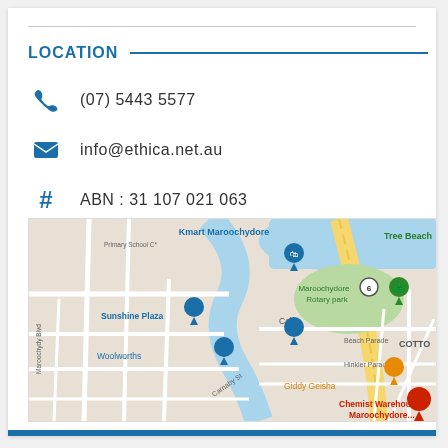LOCATION
(07) 5443 5577
info@ethica.net.au
ABN : 31 107 021 063
[Figure (map): Google Maps screenshot showing Maroochydore area with landmarks including Sunshine Plaza, Woolworths, Coles, Giddy Geisha, ALDI, Chemist Warehouse Maroochydore, Maroochydore Rotary park, Tree Beach, and Kmart Maroochydore. Roads visible include First Avenue, Beach Parade, Hinkler Parade, Carnaby St, and Maroochydy Blvd.]